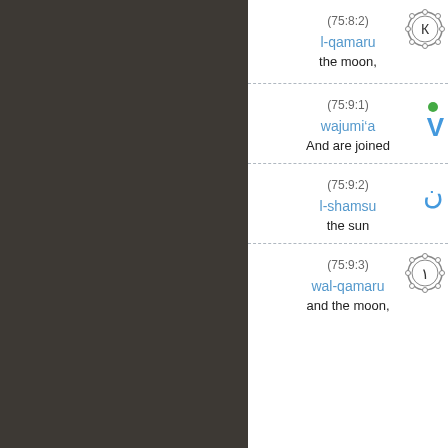(75:8:2)
l-qamaru
the moon,
(75:9:1)
wajumiʿa
And are joined
(75:9:2)
l-shamsu
the sun
(75:9:3)
wal-qamaru
and the moon,